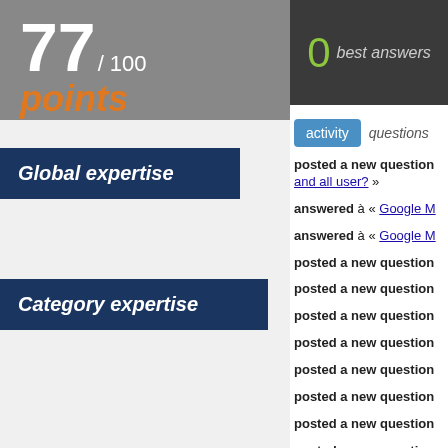77 / 100
points
Global expertise
Category expertise
0 best answers
activity   questions
posted a new question and all user? »
answered à « Google M
answered à « Google M
posted a new question
posted a new question
posted a new question
posted a new question
posted a new question
posted a new question
posted a new question
posted a new question